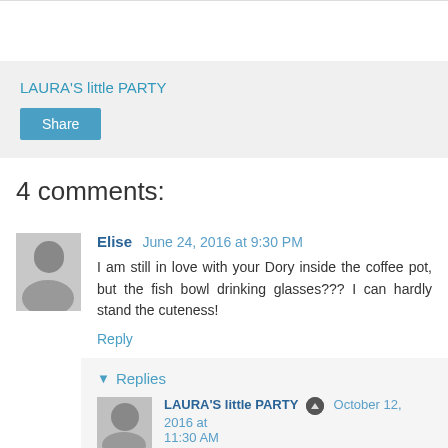LAURA'S little PARTY
Share
4 comments:
Elise  June 24, 2016 at 9:30 PM
I am still in love with your Dory inside the coffee pot, but the fish bowl drinking glasses??? I can hardly stand the cuteness!
Reply
Replies
LAURA'S little PARTY  October 12, 2016 at 11:30 AM